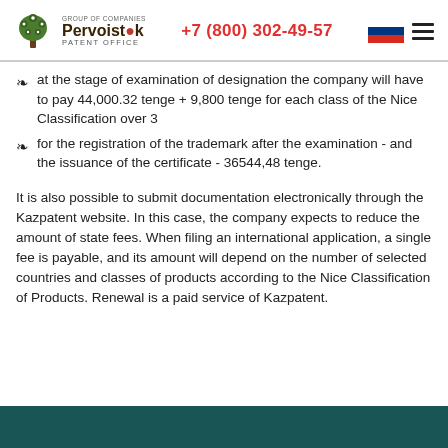GROUP OF COMPANIES Pervoistok PATENT OFFICE | +7 (800) 302-49-57
at the stage of examination of designation the company will have to pay 44,000.32 tenge + 9,800 tenge for each class of the Nice Classification over 3
for the registration of the trademark after the examination - and the issuance of the certificate - 36544,48 tenge.
It is also possible to submit documentation electronically through the Kazpatent website. In this case, the company expects to reduce the amount of state fees. When filing an international application, a single fee is payable, and its amount will depend on the number of selected countries and classes of products according to the Nice Classification of Products. Renewal is a paid service of Kazpatent.